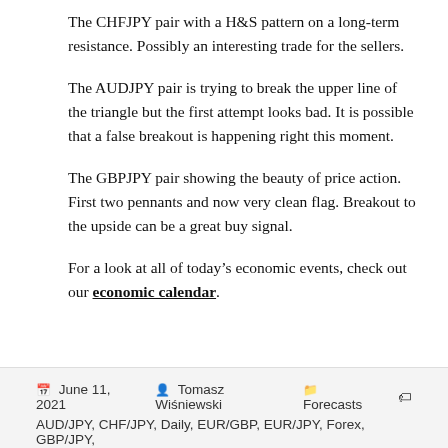The CHFJPY pair with a H&S pattern on a long-term resistance. Possibly an interesting trade for the sellers.
The AUDJPY pair is trying to break the upper line of the triangle but the first attempt looks bad. It is possible that a false breakout is happening right this moment.
The GBPJPY pair showing the beauty of price action. First two pennants and now very clean flag. Breakout to the upside can be a great buy signal.
For a look at all of today’s economic events, check out our economic calendar.
June 11, 2021  Tomasz Wiśniewski  Forecasts  AUD/JPY, CHF/JPY, Daily, EUR/GBP, EUR/JPY, Forex, GBP/JPY,